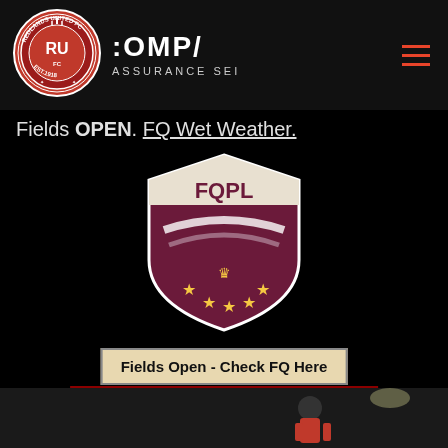[Figure (logo): Redlands United FC circular badge logo - red and white crest with EST.1918]
[Figure (logo): COMPA Assurance SEI logo - white text on dark background]
Fields OPEN. FQ Wet Weather.
[Figure (logo): FQPL (Football Queensland Premier League) shield badge - dark red/maroon with white FQPL text and gold stars]
Fields Open - Check FQ Here
Football Qld ALL Comps - Allocated Referees
2022 PLAYER REGISTRATIONS
[Figure (photo): Soccer player in red jersey at night match, bottom portion of page]